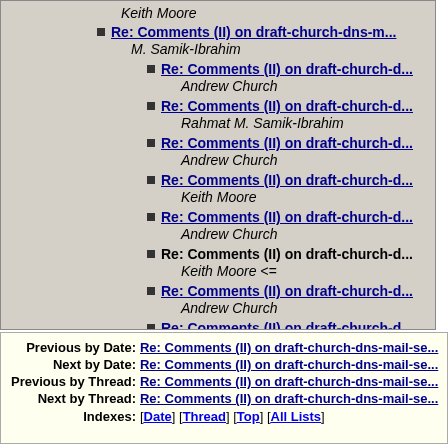Keith Moore
Re: Comments (II) on draft-church-dns-m... — M. Samik-Ibrahim
Re: Comments (II) on draft-church-d... — Andrew Church
Re: Comments (II) on draft-church-d... — Rahmat M. Samik-Ibrahim
Re: Comments (II) on draft-church-d... — Andrew Church
Re: Comments (II) on draft-church-d... — Keith Moore
Re: Comments (II) on draft-church-d... — Andrew Church
Re: Comments (II) on draft-church-d... — Keith Moore <=
Re: Comments (II) on draft-church-d... — Andrew Church
Re: Comments (II) on draft-church-d... — Keith Moore
Previous by Date: Re: Comments (II) on draft-church-dns-mail-se...
Next by Date: Re: Comments (II) on draft-church-dns-mail-se...
Previous by Thread: Re: Comments (II) on draft-church-dns-mail-se...
Next by Thread: Re: Comments (II) on draft-church-dns-mail-se...
Indexes: [Date] [Thread] [Top] [All Lists]